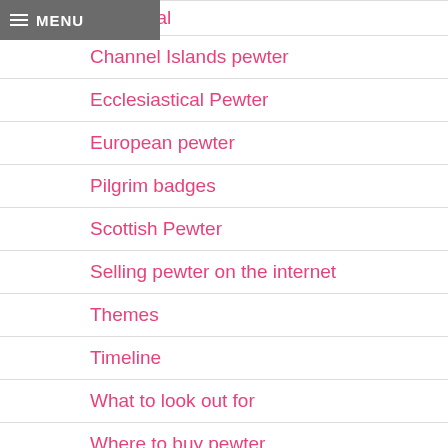MENU
inia metal
Channel Islands pewter
Ecclesiastical Pewter
European pewter
Pilgrim badges
Scottish Pewter
Selling pewter on the internet
Themes
Timeline
What to look out for
Where to buy pewter
Why collect British Pewter?
Fakes, forgeries and reproductions